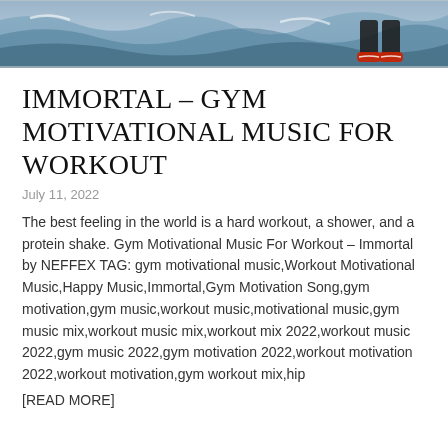[Figure (photo): Hero image showing ocean waves and a person's legs/shoes in athletic wear, cropped at the top of the page]
IMMORTAL – GYM MOTIVATIONAL MUSIC FOR WORKOUT
July 11, 2022
The best feeling in the world is a hard workout, a shower, and a protein shake. Gym Motivational Music For Workout – Immortal by NEFFEX TAG: gym motivational music,Workout Motivational Music,Happy Music,Immortal,Gym Motivation Song,gym motivation,gym music,workout music,motivational music,gym music mix,workout music mix,workout mix 2022,workout music 2022,gym music 2022,gym motivation 2022,workout motivation 2022,workout motivation,gym workout mix,hip
[READ MORE]